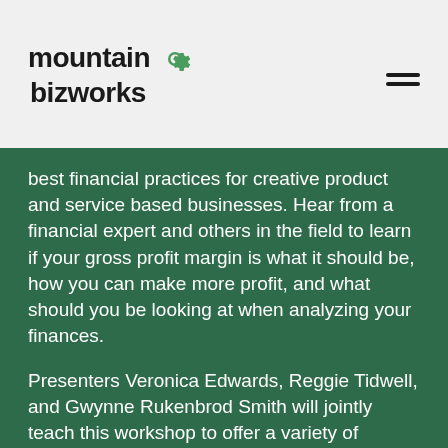mountain bizworks
best financial practices for creative product and service based businesses. Hear from a financial expert and others in the field to learn if your gross profit margin is what it should be, how you can make more profit, and what should you be looking at when analyzing your finances.
Presenters Veronica Edwards, Reggie Tidwell, and Gwynne Rukenbrod Smith will jointly teach this workshop to offer a variety of perspectives on pricing in the creative industry.
The Pricing for Profit workshop is part of the Craft